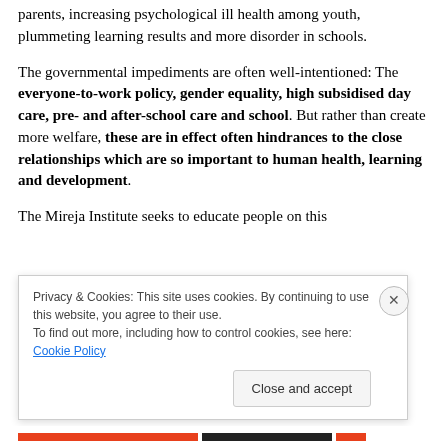parents, increasing psychological ill health among youth, plummeting learning results and more disorder in schools.
The governmental impediments are often well-intentioned: The everyone-to-work policy, gender equality, high subsidised day care, pre- and after-school care and school. But rather than create more welfare, these are in effect often hindrances to the close relationships which are so important to human health, learning and development.
The Mireja Institute seeks to educate people on this
Privacy & Cookies: This site uses cookies. By continuing to use this website, you agree to their use.
To find out more, including how to control cookies, see here: Cookie Policy